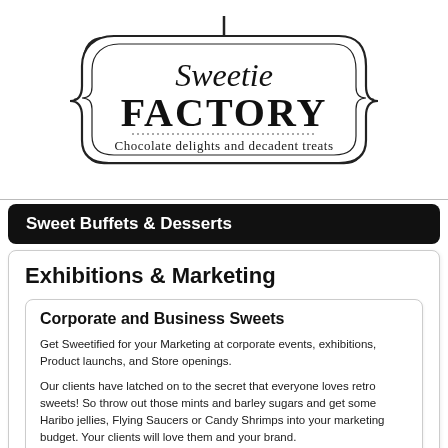[Figure (logo): Sweetie Factory logo with decorative frame border. Script text 'Sweetie' above large slab-serif 'FACTORY'. Subtitle: 'Chocolate delights and decadent treats']
Sweet Buffets & Desserts
Exhibitions & Marketing
Corporate and Business Sweets
Get Sweetified for your Marketing at corporate events, exhibitions, Product launchs, and Store openings.
Our clients have latched on to the secret that everyone loves retro sweets! So throw out those mints and barley sugars and get some Haribo jellies, Flying Saucers or Candy Shrimps into your marketing budget. Your clients will love them and your brand.
When your clients and prospects receive something enjoyable, your brand will be